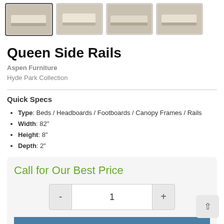[Figure (photo): Four thumbnail images of Queen Side Rails furniture product, first thumbnail selected with border.]
Queen Side Rails
Aspen Furniture
Hyde Park Collection
Quick Specs
Type: Beds / Headboards / Footboards / Canopy Frames / Rails
Width: 82"
Height: 8"
Depth: 2"
Call for Our Best Price
1
Request Quote